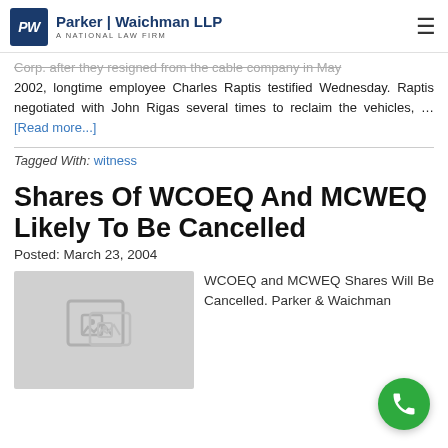Parker | Waichman LLP — A National Law Firm
Corp. after they resigned from the cable company in May 2002, longtime employee Charles Raptis testified Wednesday. Raptis negotiated with John Rigas several times to reclaim the vehicles, … [Read more...]
Tagged With: witness
Shares Of WCOEQ And MCWEQ Likely To Be Cancelled
Posted: March 23, 2004
[Figure (photo): Placeholder image icon (grey background with image placeholder symbol)]
WCOEQ and MCWEQ Shares Will Be Cancelled. Parker & Waichman